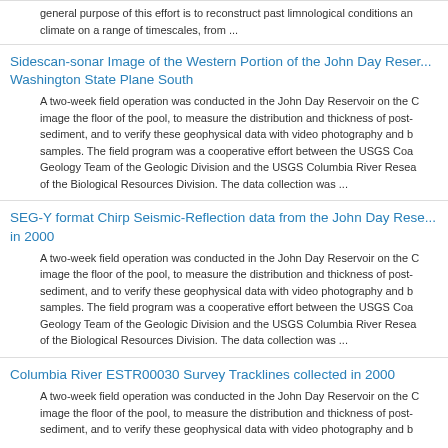general purpose of this effort is to reconstruct past limnological conditions and climate on a range of timescales, from ...
Sidescan-sonar Image of the Western Portion of the John Day Reservoir Washington State Plane South
A two-week field operation was conducted in the John Day Reservoir on the C image the floor of the pool, to measure the distribution and thickness of post- sediment, and to verify these geophysical data with video photography and b samples. The field program was a cooperative effort between the USGS Coa Geology Team of the Geologic Division and the USGS Columbia River Resea of the Biological Resources Division. The data collection was ...
SEG-Y format Chirp Seismic-Reflection data from the John Day Reservoir in 2000
A two-week field operation was conducted in the John Day Reservoir on the C image the floor of the pool, to measure the distribution and thickness of post- sediment, and to verify these geophysical data with video photography and b samples. The field program was a cooperative effort between the USGS Coa Geology Team of the Geologic Division and the USGS Columbia River Resea of the Biological Resources Division. The data collection was ...
Columbia River ESTR00030 Survey Tracklines collected in 2000
A two-week field operation was conducted in the John Day Reservoir on the C image the floor of the pool, to measure the distribution and thickness of post- sediment, and to verify these geophysical data with video photography and b